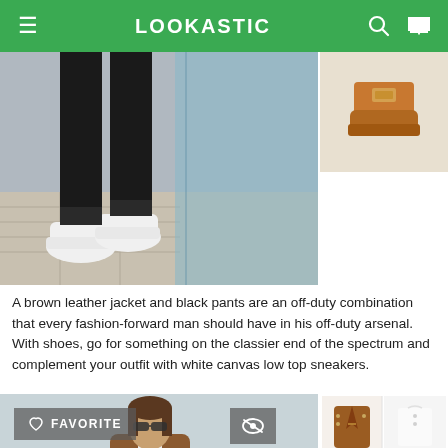LOOKASTIC
[Figure (photo): Close-up photo of man's lower body wearing black pants and white sneakers on a tiled floor]
[Figure (photo): Small thumbnail of brown leather item (belt or shoe)]
A brown leather jacket and black pants are an off-duty combination that every fashion-forward man should have in his off-duty arsenal. With shoes, go for something on the classier end of the spectrum and complement your outfit with white canvas low top sneakers.
[Figure (photo): Man with long hair and sunglasses wearing a brown leather jacket, standing near a railing with city skyline behind]
[Figure (photo): Product grid showing: brown leather moto jacket, white t-shirt, black skinny pants, white low top sneakers]